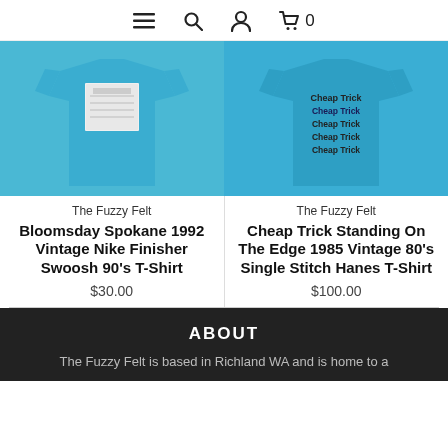☰  🔍  👤  🛒 0
[Figure (photo): Light blue t-shirt with a graphic print on the chest, displayed flat on a light background (Bloomsday Spokane 1992 Vintage Nike Finisher Swoosh 90's T-Shirt)]
[Figure (photo): Light blue t-shirt with 'Cheap Trick' text printed multiple times on the front, displayed flat on a light background (Cheap Trick Standing On The Edge 1985 Vintage 80's Single Stitch Hanes T-Shirt)]
The Fuzzy Felt
Bloomsday Spokane 1992 Vintage Nike Finisher Swoosh 90's T-Shirt
$30.00
The Fuzzy Felt
Cheap Trick Standing On The Edge 1985 Vintage 80's Single Stitch Hanes T-Shirt
$100.00
ABOUT
The Fuzzy Felt is based in Richland WA and is home to a